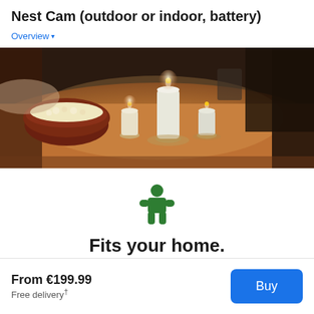Nest Cam (outdoor or indoor, battery)
Overview
[Figure (photo): Indoor scene showing a wooden table with a bowl of popcorn/snacks, several lit candles of different sizes, and dark background with partial view of people.]
[Figure (illustration): Green puzzle piece / home icon]
Fits your home.
From €199.99
Free delivery†
Buy